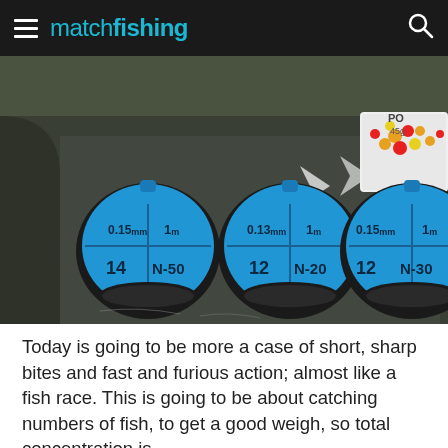matchfishing
[Figure (photo): Three blue fishing reel spools on a dark fishing tackle tray. Left spool: 0.15mm, 1m, 14, N-50. Middle spool: 0.13mm, 1m, 12, N-20. Right spool: 0.15mm, 1m, 12, N-30. A container of colourful bait is visible in the top right.]
Today is going to be more a case of short, sharp bites and fast and furious action; almost like a fish race. This is going to be about catching numbers of fish, to get a good weigh, so total concentration is